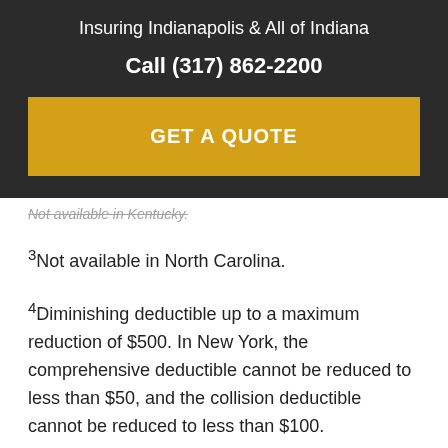Insuring Indianapolis & All of Indiana
Call (317) 862-2200
GET A QUOTE
Not available in Kentucky.
3Not available in North Carolina.
4Diminishing deductible up to a maximum reduction of $500. In New York, the comprehensive deductible cannot be reduced to less than $50, and the collision deductible cannot be reduced to less than $100.